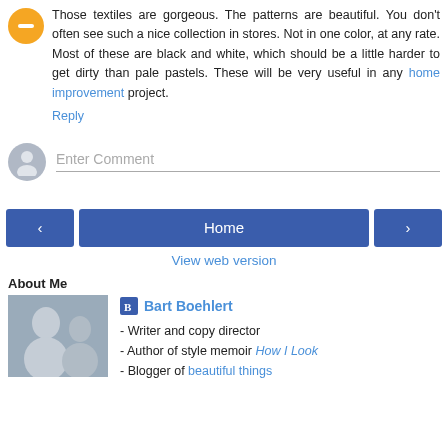Those textiles are gorgeous. The patterns are beautiful. You don't often see such a nice collection in stores. Not in one color, at any rate. Most of these are black and white, which should be a little harder to get dirty than pale pastels. These will be very useful in any home improvement project.
Reply
Enter Comment
Home
View web version
About Me
Bart Boehlert
- Writer and copy director
- Author of style memoir How I Look
- Blogger of beautiful things